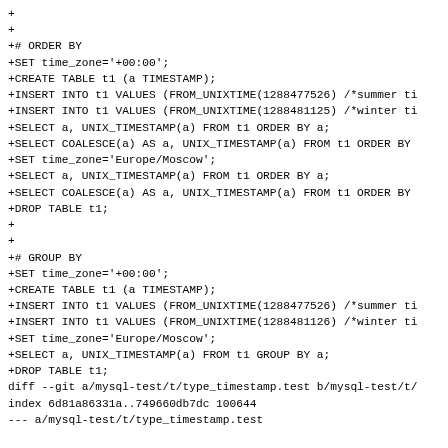+
+
+# ORDER BY
+SET time_zone='+00:00';
+CREATE TABLE t1 (a TIMESTAMP);
+INSERT INTO t1 VALUES (FROM_UNIXTIME(1288477526) /*summer ti
+INSERT INTO t1 VALUES (FROM_UNIXTIME(1288481125) /*winter ti
+SELECT a, UNIX_TIMESTAMP(a) FROM t1 ORDER BY a;
+SELECT COALESCE(a) AS a, UNIX_TIMESTAMP(a) FROM t1 ORDER BY
+SET time_zone='Europe/Moscow';
+SELECT a, UNIX_TIMESTAMP(a) FROM t1 ORDER BY a;
+SELECT COALESCE(a) AS a, UNIX_TIMESTAMP(a) FROM t1 ORDER BY
+DROP TABLE t1;
+
+
+# GROUP BY
+SET time_zone='+00:00';
+CREATE TABLE t1 (a TIMESTAMP);
+INSERT INTO t1 VALUES (FROM_UNIXTIME(1288477526) /*summer ti
+INSERT INTO t1 VALUES (FROM_UNIXTIME(1288481126) /*winter ti
+SET time_zone='Europe/Moscow';
+SELECT a, UNIX_TIMESTAMP(a) FROM t1 GROUP BY a;
+DROP TABLE t1;
diff --git a/mysql-test/t/type_timestamp.test b/mysql-test/t/
index 6d81a86331a..749660db7dc 100644
--- a/mysql-test/t/type_timestamp.test